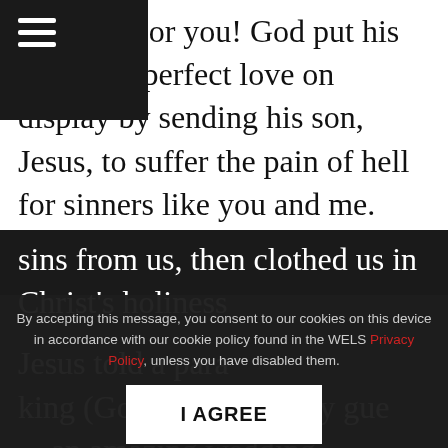[hamburger menu icon]
nt there. For you! God put his limitless, perfect love on display by sending his son, Jesus, to suffer the pain of hell for sinners like you and me. God didn't just leave sins unpunished and forget about justice. He carried our sins and experienced hell for us. Jesus was separated from God's love so we would never be. In doing so, God took our sins from us, then clothed us in Christ's holiness
Jesus told a parable about a king (God) invited many guests to an amazing wedding reception (God's love in heaven)
By accepting this message, you consent to our cookies on this device in accordance with our cookie policy found in the WELS Privacy Policy, unless you have disabled them.
I AGREE